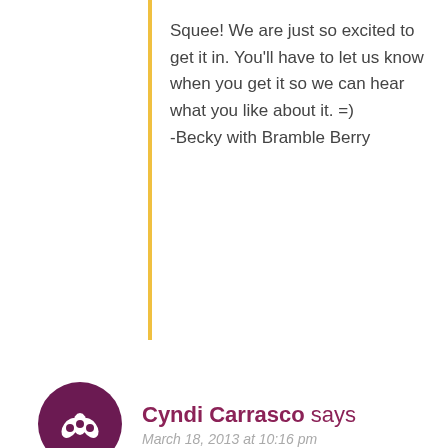Squee! We are just so excited to get it in. You'll have to let us know when you get it so we can hear what you like about it. =) -Becky with Bramble Berry
Cyndi Carrasco says
March 18, 2013 at 10:16 pm
Just beautiful! Can't wait to get my copy! (Excited, clapping my hands and squealing!!!)
Becky with Bramble Berry says